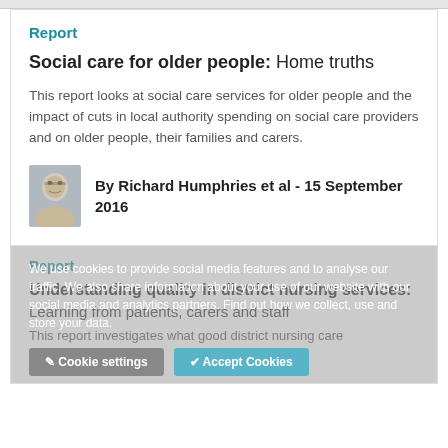Report
Social care for older people: Home truths
This report looks at social care services for older people and the impact of cuts in local authority spending on social care providers and on older people, their families and carers.
By Richard Humphries et al - 15 September 2016
Report
Understanding quality in district nursing services: Learning from patients, carers and staff
This report investigates what good district nursing care
We use cookies to provide social media features and to analyse our traffic. We also share information about your use of our website with our social media and analytics partners. Find out how we collect, use and store your data.